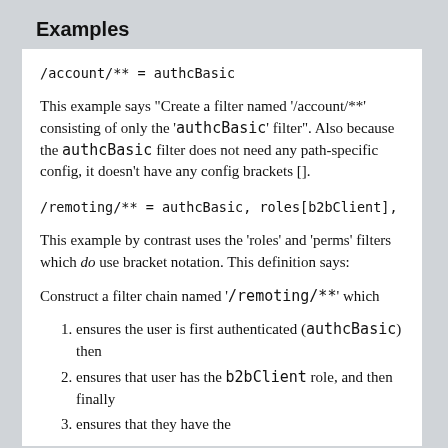Examples
/account/** = authcBasic
This example says "Create a filter named '/account/**' consisting of only the 'authcBasic' filter". Also because the authcBasic filter does not need any path-specific config, it doesn't have any config brackets [].
/remoting/** = authcBasic, roles[b2bClient], perm
This example by contrast uses the 'roles' and 'perms' filters which do use bracket notation. This definition says:
Construct a filter chain named '/remoting/**' which
ensures the user is first authenticated (authcBasic) then
ensures that user has the b2bClient role, and then finally
ensures that they have the